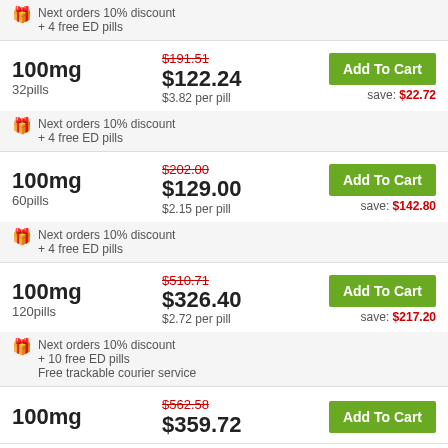Next orders 10% discount + 4 free ED pills
100mg, 32pills, $191.51 crossed out, $122.24, $3.82 per pill
Add To Cart, save: $22.72
Next orders 10% discount + 4 free ED pills
100mg, 60pills, $202.00 crossed out, $129.00, $2.15 per pill
Add To Cart, save: $142.80
Next orders 10% discount + 4 free ED pills
100mg, 120pills, $510.71 crossed out, $326.40, $2.72 per pill
Add To Cart, save: $217.20
Next orders 10% discount + 10 free ED pills
Free trackable courier service
100mg, $562.58 crossed out, $359.72